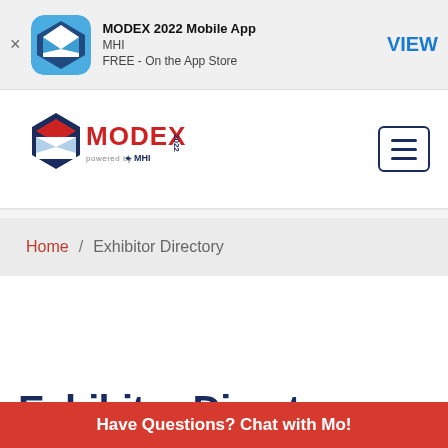[Figure (screenshot): App Store smart banner for MODEX 2022 Mobile App by MHI, showing app icon with envelope/box logo, title, developer name, price (FREE - On the App Store), and VIEW button]
[Figure (logo): MODEX 2022 logo with hexagonal envelope icon in navy/red, MODEX text in red and navy, 2022 in navy, powered by MHI star logo]
[Figure (screenshot): Navigation hamburger menu button with three lines, navy border]
Home / Exhibitor Directory
Exhibitor Directo...
Have Questions? Chat with Mo!